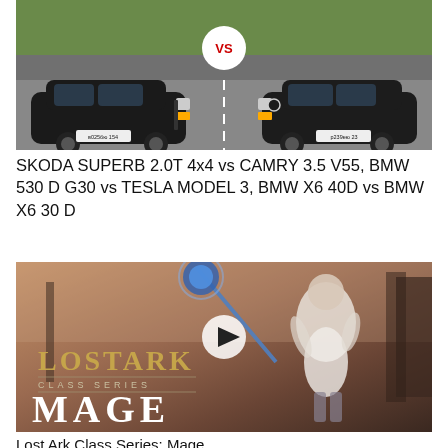[Figure (photo): Two black cars facing each other on a road with 'VS' badge between them — Skoda Superb on the left, Toyota Camry on the right, green fields in background]
SKODA SUPERB 2.0T 4x4 vs CAMRY 3.5 V55, BMW 530 D G30 vs TESLA MODEL 3, BMW X6 40D vs BMW X6 30 D
[Figure (screenshot): Lost Ark Class Series: Mage promotional image showing a female mage character in white outfit with a blue staff, play button overlay, Lost Ark logo in gold text, 'CLASS SERIES' subtitle, and 'MAGE' in large white letters]
Lost Ark Class Series: Mage